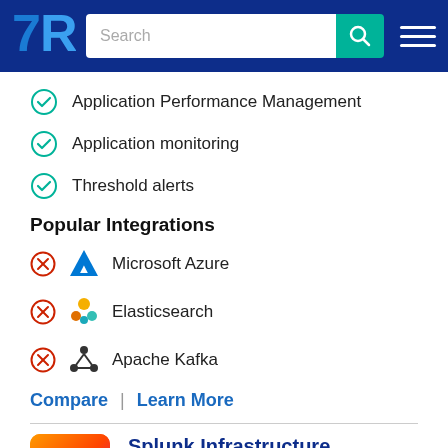TrustRadius header with search bar
Application Performance Management
Application monitoring
Threshold alerts
Popular Integrations
Microsoft Azure
Elasticsearch
Apache Kafka
Compare | Learn More
Splunk Infrastructure Monitoring
Score 8.2 out of 10